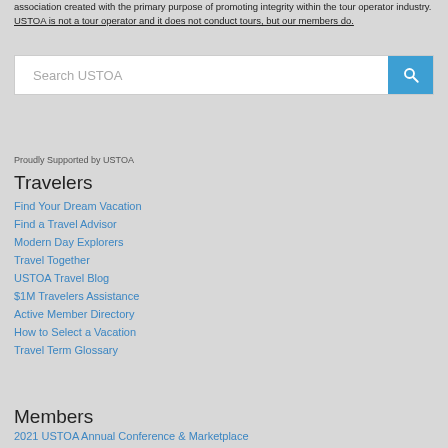association created with the primary purpose of promoting integrity within the tour operator industry. USTOA is not a tour operator and it does not conduct tours, but our members do.
[Figure (screenshot): Search box with placeholder text 'Search USTOA' and a blue search button with magnifying glass icon]
Proudly Supported by USTOA
Travelers
Find Your Dream Vacation
Find a Travel Advisor
Modern Day Explorers
Travel Together
USTOA Travel Blog
$1M Travelers Assistance
Active Member Directory
How to Select a Vacation
Travel Term Glossary
Members
2021 USTOA Annual Conference & Marketplace